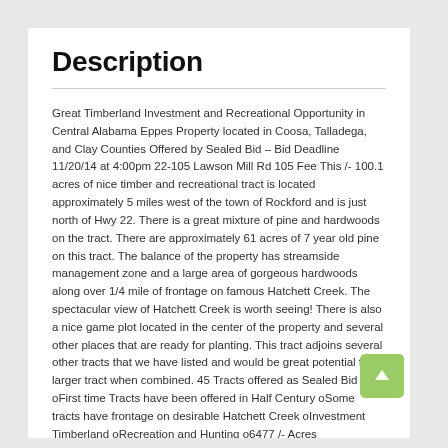Description
Great Timberland Investment and Recreational Opportunity in Central Alabama Eppes Property located in Coosa, Talladega, and Clay Counties Offered by Sealed Bid – Bid Deadline 11/20/14 at 4:00pm 22-105 Lawson Mill Rd 105 Fee This /- 100.1 acres of nice timber and recreational tract is located approximately 5 miles west of the town of Rockford and is just north of Hwy 22. There is a great mixture of pine and hardwoods on the tract. There are approximately 61 acres of 7 year old pine on this tract. The balance of the property has streamside management zone and a large area of gorgeous hardwoods along over 1/4 mile of frontage on famous Hatchett Creek. The spectacular view of Hatchett Creek is worth seeing! There is also a nice game plot located in the center of the property and several other places that are ready for planting. This tract adjoins several other tracts that we have listed and would be great potential for larger tract when combined. 45 Tracts offered as Sealed Bid oFirst time Tracts have been offered in Half Century oSome tracts have frontage on desirable Hatchett Creek oInvestment Timberland oRecreation and Hunting o6477 /- Acres